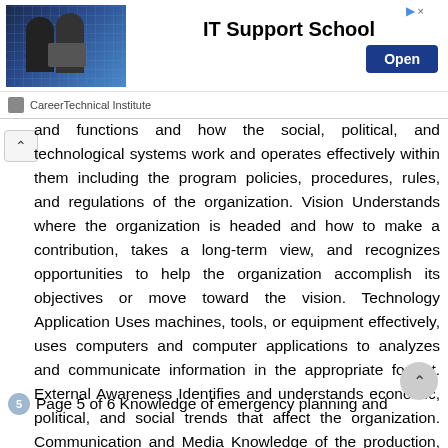[Figure (other): Advertisement banner for IT Support School by CareerTechnical Institute with an Open button]
and functions and how the social, political, and technological systems work and operates effectively within them including the program policies, procedures, rules, and regulations of the organization. Vision Understands where the organization is headed and how to make a contribution, takes a long-term view, and recognizes opportunities to help the organization accomplish its objectives or move toward the vision. Technology Application Uses machines, tools, or equipment effectively, uses computers and computer applications to analyzes and communicate information in the appropriate format. External Awareness Identifies and understands economic, political, and social trends that affect the organization. Communication and Media Knowledge of the production, communication, and dissemination of information and ideas to inform and entertain via written, oral, and visual media.
5 Page 5 of 6 Knowledge of emergency planning and